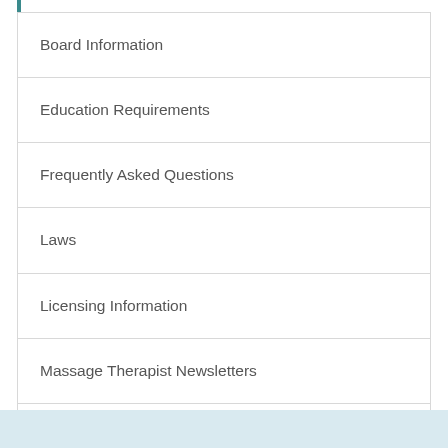Board Information
Education Requirements
Frequently Asked Questions
Laws
Licensing Information
Massage Therapist Newsletters
Rules in Progress